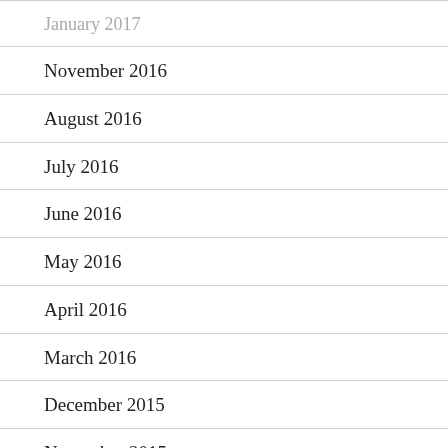January 2017
November 2016
August 2016
July 2016
June 2016
May 2016
April 2016
March 2016
December 2015
November 2015
October 2015
September 2015